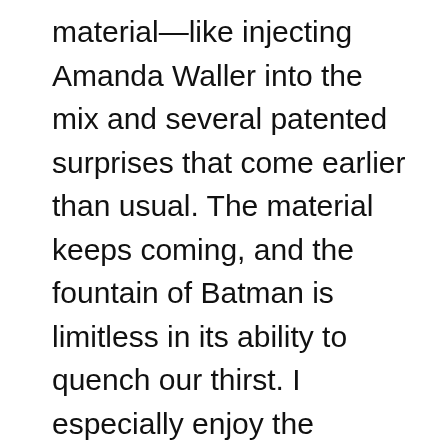material—like injecting Amanda Waller into the mix and several patented surprises that come earlier than usual. The material keeps coming, and the fountain of Batman is limitless in its ability to quench our thirst. I especially enjoy the scenes that build Batman and Gordon's rapport; which is one of my favourite dynamics.